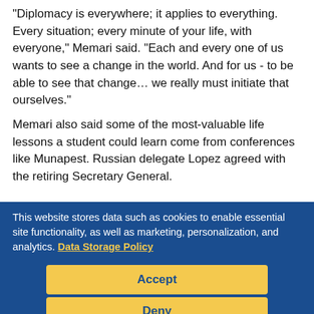“Diplomacy is everywhere; it applies to everything. Every situation; every minute of your life, with everyone,” Memari said. “Each and every one of us wants to see a change in the world. And for us - to be able to see that change… we really must initiate that ourselves.”
Memari also said some of the most-valuable life lessons a student could learn come from conferences like Munapest. Russian delegate Lopez agreed with the retiring Secretary General.
“I can’t really sum it up in any one moment,” Lopez said. [partial, obscured by overlay]
This website stores data such as cookies to enable essential site functionality, as well as marketing, personalization, and analytics. Data Storage Policy
Accept
Deny